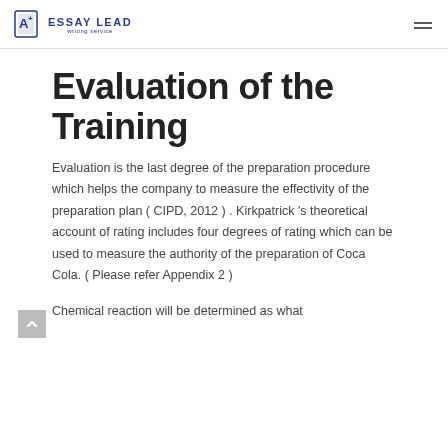ESSAY LEAD writing service
Evaluation of the Training
Evaluation is the last degree of the preparation procedure which helps the company to measure the effectivity of the preparation plan ( CIPD, 2012 ) . Kirkpatrick 's theoretical account of rating includes four degrees of rating which can be used to measure the authority of the preparation of Coca Cola. ( Please refer Appendix 2 )
Chemical reaction will be determined as what